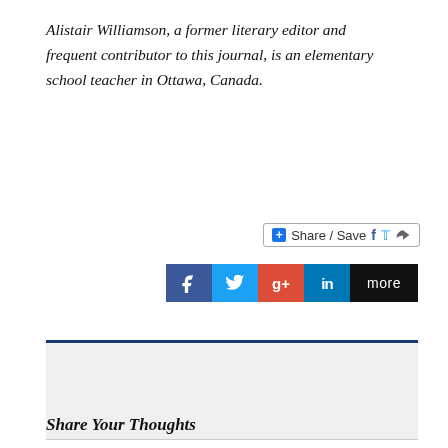Alistair Williamson, a former literary editor and frequent contributor to this journal, is an elementary school teacher in Ottawa, Canada.
[Figure (screenshot): Share/Save social media buttons bar with Facebook, Twitter icons and share arrow]
[Figure (screenshot): Social media share buttons: Facebook (f), Twitter (bird), Google+, LinkedIn (in), more]
[Figure (logo): Circular decorative logo with diamond/star pattern in dark magenta/maroon color, representing the journal or publication]
ALISTAIR WILLIAMSON
Share Your Thoughts